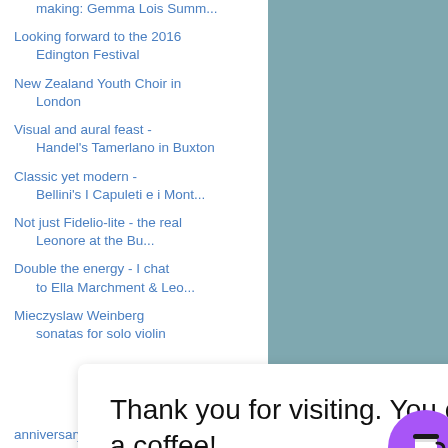making: Gemma Lois Summ...
Looking forward to the 2016 Edington Festival
New Zealand Youth Choir in London
Visual and aural feast - Handel's Tamerlano in Buxton
Classic yet modern - Bellini's I Capuleti e i Mont...
Not just Fidelio-lite - the real Leonore at the Bu...
Double the energy - I chat to Ella Marchment & Leo...
Mieczyslaw Weinberg sonatas for solo violin
Thank you for visiting. You can now buy me a coffee!
anniversary w...